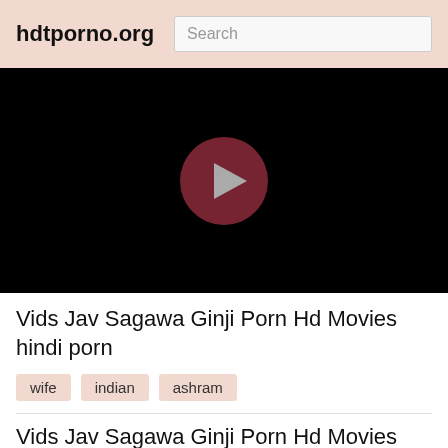hdtporno.org  Search
[Figure (screenshot): Black video player with dark red circular play button in the center]
Vids Jav Sagawa Ginji Porn Hd Movies hindi porn
wife
indian
ashram
Vids Jav Sagawa Ginji Porn Hd Movies